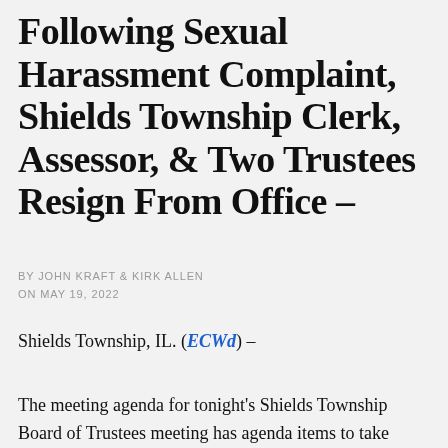Following Sexual Harassment Complaint, Shields Township Clerk, Assessor, & Two Trustees Resign From Office –
BY JOHN KRAFT & KIRK ALLEN
ON MAY 19, 2022
Shields Township, IL. (ECWd) –
The meeting agenda for tonight's Shields Township Board of Trustees meeting has agenda items to take action to accept the resignations of the township clerk, township assessor, and two township trustees.
An April 22, 2022 Press Release issued by the Shields Township Supervisor sheds some light on what was behind these resignations, along with